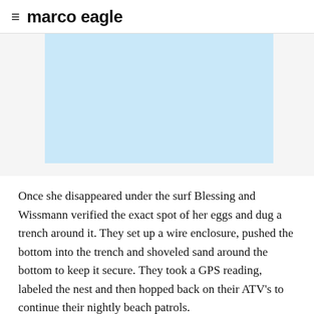≡ marco eagle
[Figure (photo): Light blue rectangular placeholder image, partially visible, cropped at top]
Once she disappeared under the surf Blessing and Wissmann verified the exact spot of her eggs and dug a trench around it. They set up a wire enclosure, pushed the bottom into the trench and shoveled sand around the bottom to keep it secure. They took a GPS reading, labeled the nest and then hopped back on their ATV's to continue their nightly beach patrols.